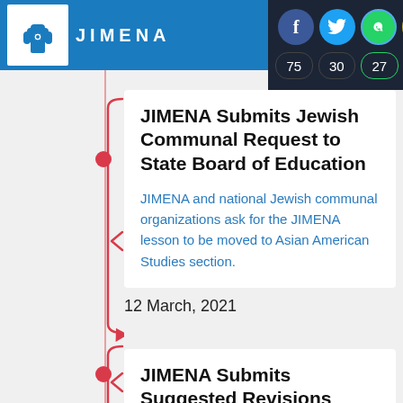JIMENA
[Figure (screenshot): Social share panel with Facebook (75), Twitter (30), WhatsApp (27), Email (34) share counts]
JIMENA Submits Jewish Communal Request to State Board of Education
JIMENA and national Jewish communal organizations ask for the JIMENA lesson to be moved to Asian American Studies section.
12 March, 2021
JIMENA Submits Suggested Revisions